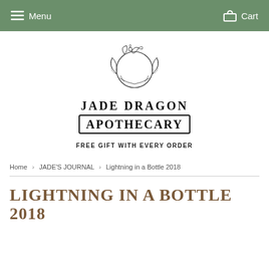Menu   Cart
[Figure (logo): Jade Dragon Apothecary logo with decorative circular botanical illustration featuring a dragon and leaves]
JADE DRAGON APOTHECARY
FREE GIFT WITH EVERY ORDER
Home › JADE'S JOURNAL › Lightning in a Bottle 2018
LIGHTNING IN A BOTTLE 2018